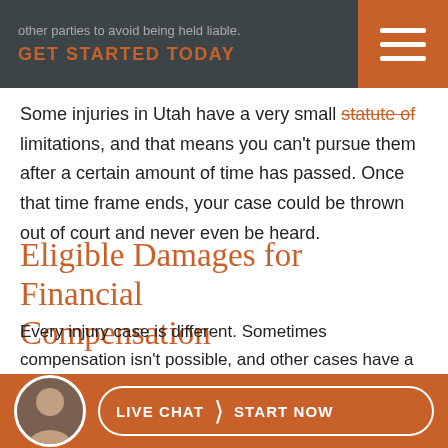other parties to avoid being held liable. GET STARTED TODAY
Some injuries in Utah have a very small statute of limitations, and that means you can't pursue them after a certain amount of time has passed. Once that time frame ends, your case could be thrown out of court and never even be heard.
Eligible Damages for Financial Compensation
Every injury case is different. Sometimes compensation isn't possible, and other cases have a very high chance of getting a fair settlement. Expenses and damages related to your injury that can be included in your case:
LIVE CHAT  START NOW